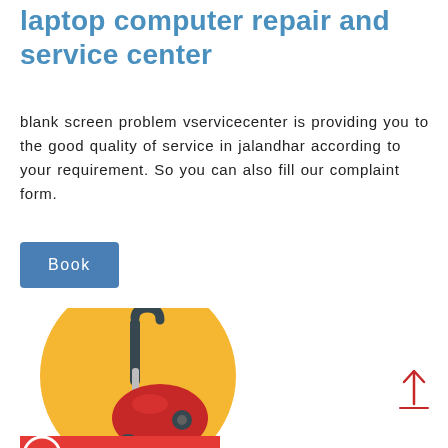laptop computer repair and service center
blank screen problem vservicecenter is providing you to the good quality of service in jalandhar according to your requirement. So you can also fill our complaint form.
[Figure (other): A blue rounded-rectangle button with white text reading 'Book']
[Figure (illustration): A flat illustration of a red vacuum cleaner on a yellow circle background, with a call-us-now banner at the bottom left showing a phone icon and red background with white text 'CALL US NOW']
[Figure (other): A red upward-pointing arrow icon with a horizontal underline, used as a scroll-to-top button]